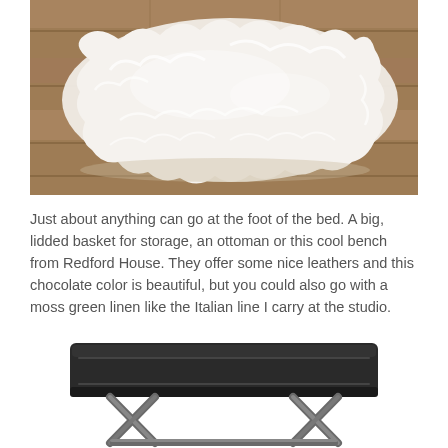[Figure (photo): White fluffy sheepskin rug laid on wooden floor, photographed from above at an angle]
Just about anything can go at the foot of the bed. A big, lidded basket for storage, an ottoman or this cool bench from Redford House. They offer some nice leathers and this chocolate color is beautiful, but you could also go with a moss green linen like the Italian line I carry at the studio.
[Figure (photo): Dark chocolate brown leather bench with X-shaped metal legs, viewed from slightly above]